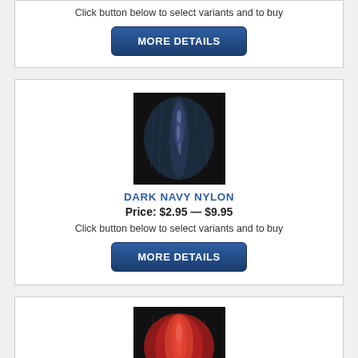Click button below to select variants and to buy
[Figure (other): MORE DETAILS button (dark blue rounded rectangle)]
[Figure (photo): Dark navy nylon thread spool on black background]
DARK NAVY NYLON
Price: $2.95 — $9.95
Click button below to select variants and to buy
[Figure (other): MORE DETAILS button (dark blue rounded rectangle)]
[Figure (photo): Red/coral nylon thread spool on black background (partially visible)]